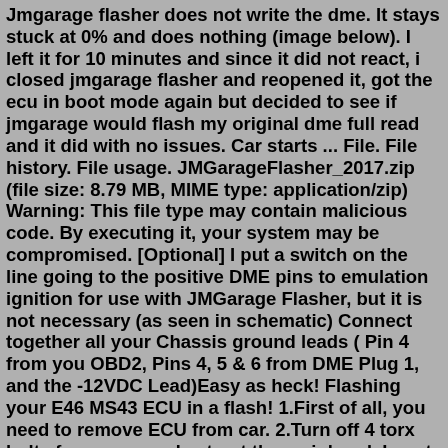Jmgarage flasher does not write the dme. It stays stuck at 0% and does nothing (image below). I left it for 10 minutes and since it did not react, i closed jmgarage flasher and reopened it, got the ecu in boot mode again but decided to see if jmgarage would flash my original dme full read and it did with no issues. Car starts ... File. File history. File usage. JMGarageFlasher_2017.zip  (file size: 8.79 MB, MIME type: application/zip) Warning: This file type may contain malicious code. By executing it, your system may be compromised. [Optional] I put a switch on the line going to the positive DME pins to emulation ignition for use with JMGarage Flasher, but it is not necessary (as seen in schematic) Connect together all your Chassis ground leads ( Pin 4 from you OBD2, Pins 4, 5 & 6 from DME Plug 1, and the -12VDC Lead)Easy as heck! Flashing your E46 MS43 ECU in a flash! 1.First of all, you need to remove ECU from car. 2.Turn off 4 torx bolts from case and extract the mainboad. Locate 104 boot pin. Short boot pin to GND. Put "+12V" and "-" to your black (2...